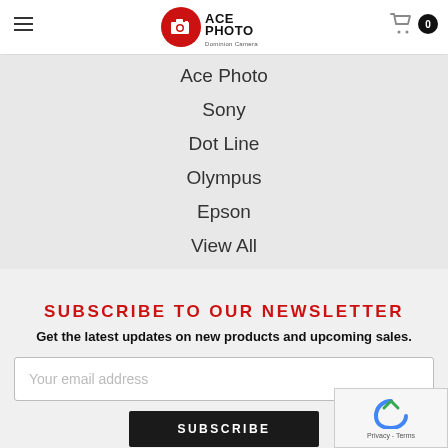[Figure (logo): Ace Photo Dominion Camera logo with red circle and camera icon]
Ace Photo
Sony
Dot Line
Olympus
Epson
View All
SUBSCRIBE TO OUR NEWSLETTER
Get the latest updates on new products and upcoming sales.
Your email address
SUBSCRIBE